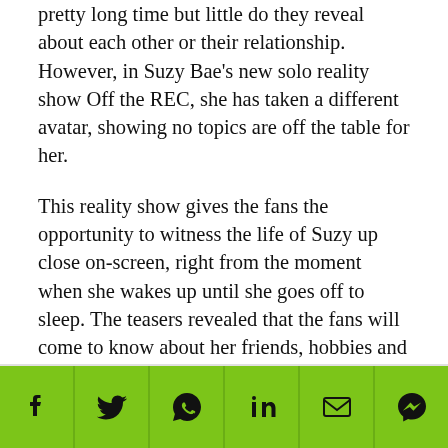pretty long time but little do they reveal about each other or their relationship. However, in Suzy Bae's new solo reality show Off the REC, she has taken a different avatar, showing no topics are off the table for her.
This reality show gives the fans the opportunity to witness the life of Suzy up close on-screen, right from the moment when she wakes up until she goes off to sleep. The teasers revealed that the fans will come to know about her friends, hobbies and also her drinking habits.
Suzy is seen in one of the most recent previews revealing that she can easily drink one and a half bottles of soju. Suzy Bae also revealed that she loves playing pool and go karaoke during her free time and her method of relieving stress is rapping.
[Figure (infographic): Social media sharing bar with icons for Facebook, Twitter, WhatsApp, LinkedIn, Email, and Messenger on a green background.]